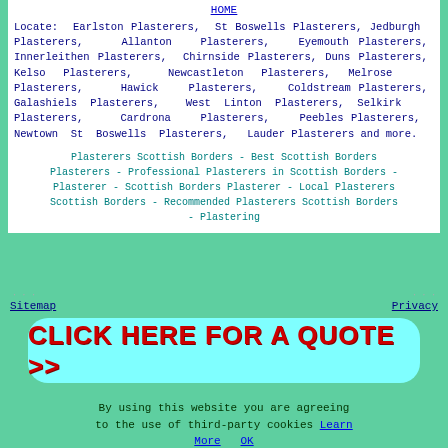HOME
Locate: Earlston Plasterers, St Boswells Plasterers, Jedburgh Plasterers, Allanton Plasterers, Eyemouth Plasterers, Innerleithen Plasterers, Chirnside Plasterers, Duns Plasterers, Kelso Plasterers, Newcastleton Plasterers, Melrose Plasterers, Hawick Plasterers, Coldstream Plasterers, Galashiels Plasterers, West Linton Plasterers, Selkirk Plasterers, Cardrona Plasterers, Peebles Plasterers, Newtown St Boswells Plasterers, Lauder Plasterers and more.
Plasterers Scottish Borders - Best Scottish Borders Plasterers - Professional Plasterers in Scottish Borders - Plasterer - Scottish Borders Plasterer - Local Plasterers Scottish Borders - Recommended Plasterers Scottish Borders - Plastering
Sitemap    Privacy
[Figure (other): Red bold text button reading CLICK HERE FOR A QUOTE >> on cyan rounded rectangle background]
By using this website you are agreeing to the use of third-party cookies Learn More  OK